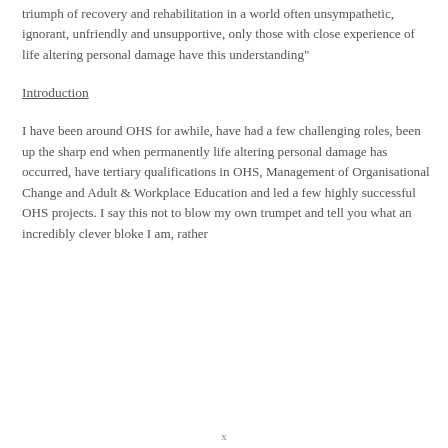triumph of recovery and rehabilitation in a world often unsympathetic, ignorant, unfriendly and unsupportive, only those with close experience of life altering personal damage have this understanding"
Introduction
I have been around OHS for awhile, have had a few challenging roles, been up the sharp end when permanently life altering personal damage has occurred, have tertiary qualifications in OHS, Management of Organisational Change and Adult & Workplace Education and led a few highly successful OHS projects. I say this not to blow my own trumpet and tell you what an incredibly clever bloke I am, rather
x